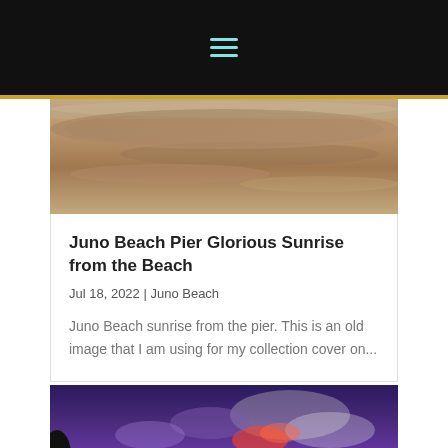Navigation bar with hamburger menu
[Figure (photo): Juno Beach sunrise photo showing sandy beach with brown and golden sand tones, water visible in top portion]
Juno Beach Pier Glorious Sunrise from the Beach
Jul 18, 2022 | Juno Beach
Juno Beach sunrise from the pier. This is an old image that I am using for my collection cover on...
[Figure (photo): Sunset/dusk sky photo with purple and blue tones, red cloud highlights, and dark tree silhouettes in foreground]